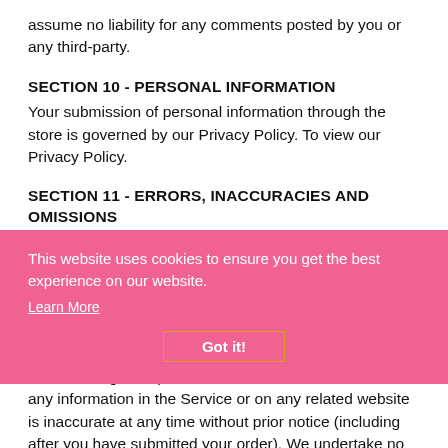assume no liability for any comments posted by you or any third-party.
SECTION 10 - PERSONAL INFORMATION
Your submission of personal information through the store is governed by our Privacy Policy. To view our Privacy Policy.
SECTION 11 - ERRORS, INACCURACIES AND OMISSIONS
Occasionally there may be information on our site or in the Service that contains typographical errors, inaccuracies or omissions that may relate to product descriptions, pricing, promotions, offers, product shipping charges, transit times and availability. We reserve the right to correct any errors, inaccuracies or omissions, and to change or update information or cancel orders if any information in the Service or on any related website is inaccurate at any time without prior notice (including after you have submitted your order). We undertake no obligation to update, amend or clarify information in the Service or on any related website, including
This website uses cookies to ensure you get the best experience on our website.
Learn More
Got it!